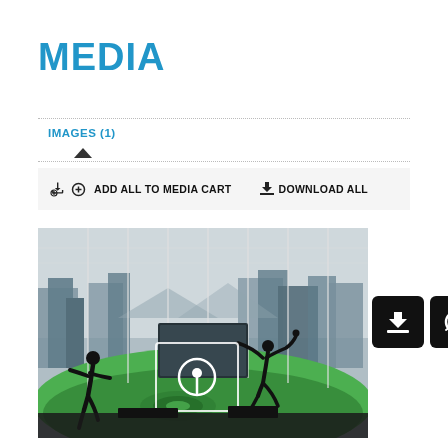MEDIA
IMAGES (1)
ADD ALL TO MEDIA CART    DOWNLOAD ALL
[Figure (photo): Outdoor golf driving range scene with silhouettes of golfers against a city skyline backdrop. A circular icon overlay with a play/info marker is visible in the center. Green turf, tall white poles, and large video screens visible in background.]